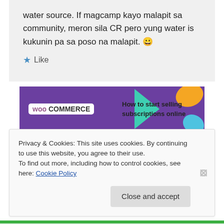water source. If magcamp kayo malapit sa community, meron sila CR pero yung water is kukunin pa sa poso na malapit. 😀
★ Like
[Figure (other): WooCommerce advertisement banner: purple background with WooCommerce logo and text 'How to start selling subscriptions online', with teal, orange, and blue decorative shapes]
Privacy & Cookies: This site uses cookies. By continuing to use this website, you agree to their use.
To find out more, including how to control cookies, see here: Cookie Policy
Close and accept